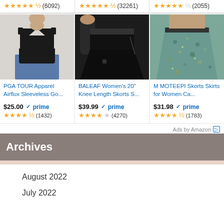[Figure (other): Top rating bar showing three product ratings: 4.5 stars (6092 reviews), 4.5 stars (32261 reviews), 4.5 stars (2055 reviews)]
[Figure (photo): PGA TOUR Apparel Airflux Sleeveless golf shirt product photo - black sleeveless top with blue jeans]
PGA TOUR Apparel Airflux Sleeveless Go...
$25.00 ✓prime
★★★★½ (1432)
[Figure (photo): BALEAF Women's 20" Knee Length Skorts product photo - black skort/shorts]
BALEAF Women's 20" Knee Length Skorts S...
$39.99 ✓prime
★★★★☆ (4270)
[Figure (photo): M MOTEEPI Skorts product photo - patterned skirt in teal/blue floral pattern]
M MOTEEPI Skorts Skirts for Women Ca...
$31.98 ✓prime
★★★★½ (1783)
Ads by Amazon ▷
Archives
August 2022
July 2022